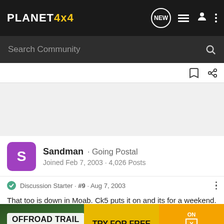PLANET4x4
Search Community
Sandman · Going Postal
Joined Feb 7, 2003 · 4,026 Posts
Discussion Starter · #9 · Aug 7, 2003
That too is down in Moab. Ck5 puts it on and its for a weekend. This yea... I hear. If I dont... O
Shoo...
[Figure (screenshot): Advertisement banner for OFFROAD TRAIL MAPS & GPS with TRY FOR FREE and ON X OFFROAD branding]